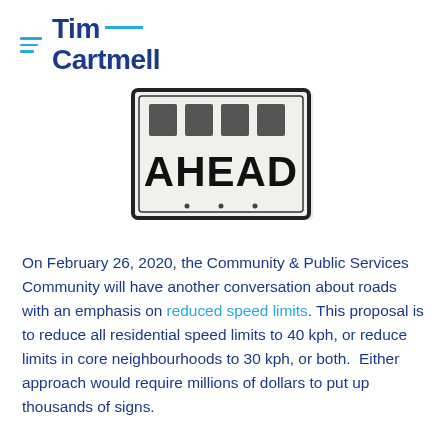Tim Cartmell
[Figure (photo): A road sign showing 'AHEAD' (partially visible top text, 'AHEAD' clearly shown), black text on white background with black border, rectangular sign on a post.]
On February 26, 2020, the Community & Public Services Community will have another conversation about roads with an emphasis on reduced speed limits. This proposal is to reduce all residential speed limits to 40 kph, or reduce limits in core neighbourhoods to 30 kph, or both.  Either approach would require millions of dollars to put up thousands of signs.